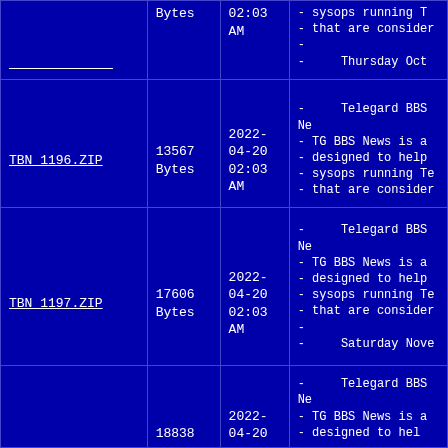| Filename | Size | Date | Description |
| --- | --- | --- | --- |
| (partial top row) | Bytes | 2022-04-20 02:03 AM | - sysops running T
- that are consider
-
- Thursday Oct |
| TBN 1196.ZIP | 13567 Bytes | 2022-04-20 02:03 AM | - Telegard BBS Ne
- TG BBS News is a
- designed to help
- sysops running Te
- that are consider |
| TBN 1197.ZIP | 17606 Bytes | 2022-04-20 02:03 AM | - Telegard BBS Ne
- TG BBS News is a
- designed to help
- sysops running Te
- that are consider
-
- Saturday Nove |
| (partial bottom row) | 18838 | 2022-04-20 | - Telegard BBS Ne
- TG BBS News is a
- designed to hel |